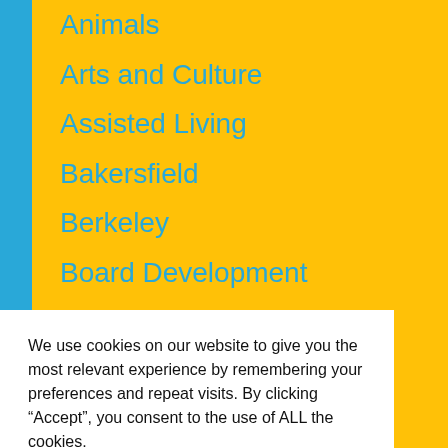Animals
Arts and Culture
Assisted Living
Bakersfield
Berkeley
Board Development
Burlingame
Castro Valley
Central Valley
Children and Families
We use cookies on our website to give you the most relevant experience by remembering your preferences and repeat visits. By clicking “Accept”, you consent to the use of ALL the cookies.
Cookie settings   ACCEPT